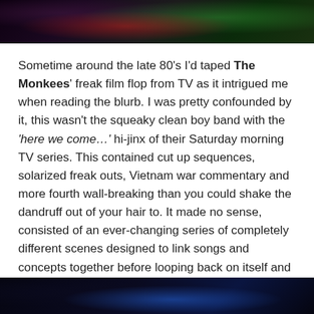[Figure (photo): Dark image at the top of the page with dark red and green tones, appears to be a still from a film or TV show]
Sometime around the late 80's I'd taped The Monkees' freak film flop from TV as it intrigued me when reading the blurb. I was pretty confounded by it, this wasn't the squeaky clean boy band with the 'here we come…' hi-jinx of their Saturday morning TV series. This contained cut up sequences, solarized freak outs, Vietnam war commentary and more fourth wall-breaking than you could shake the dandruff out of your hair to. It made no sense, consisted of an ever-changing series of completely different scenes designed to link songs and concepts together before looping back on itself and returning to the start. There was little plot to follow, just The Monkees as they jumped from genre to genre, location to location, costume change to character evolution.
[Figure (photo): Dark image at the bottom of the page with dark blue tones, appears to be a still from a film or TV show]